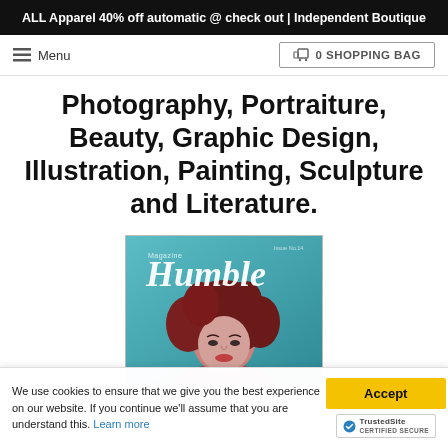ALL Apparel 40% off automatic @ check out | Independent Boutique
Menu
0 SHOPPING BAG
Photography, Portraiture, Beauty, Graphic Design, Illustration, Painting, Sculpture and Literature.
[Figure (photo): Magazine cover for 'Humble' magazine showing a woman with dark red/maroon hair and a teal/blue background, with handwritten-style 'Humble' logo text.]
We use cookies to ensure that we give you the best experience on our website. If you continue we'll assume that you are understand this. Learn more
Accept
TrustedSite CERTIFIED SECURE